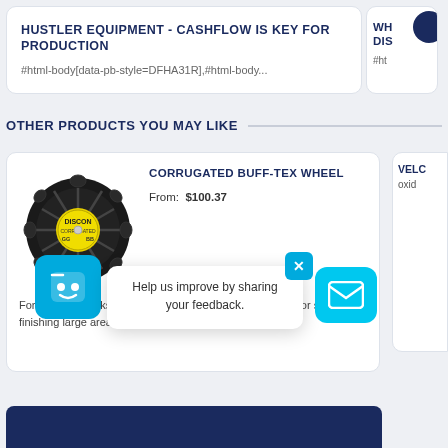HUSTLER EQUIPMENT - CASHFLOW IS KEY FOR PRODUCTION
#html-body[data-pb-style=DFHA31R],#html-body...
OTHER PRODUCTS YOU MAY LIKE
CORRUGATED BUFF-TEX WHEEL
From:  $100.37
[Figure (photo): Black corrugated buff-tex wheel with yellow Discon center label]
For less line marks from the side, non woven for blending or satin finishing large areas.
Help us improve by sharing your feedback.